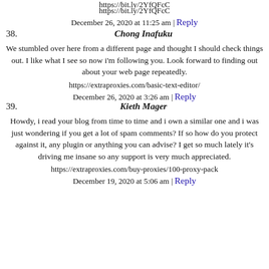https://bit.ly/2YfQFcC
December 26, 2020 at 11:25 am | Reply
38. Chong Inafuku
We stumbled over here from a different page and thought I should check things out. I like what I see so now i'm following you. Look forward to finding out about your web page repeatedly.
https://extraproxies.com/basic-text-editor/
December 26, 2020 at 3:26 am | Reply
39. Kieth Mager
Howdy, i read your blog from time to time and i own a similar one and i was just wondering if you get a lot of spam comments? If so how do you protect against it, any plugin or anything you can advise? I get so much lately it's driving me insane so any support is very much appreciated.
https://extraproxies.com/buy-proxies/100-proxy-pack
December 19, 2020 at 5:06 am | Reply